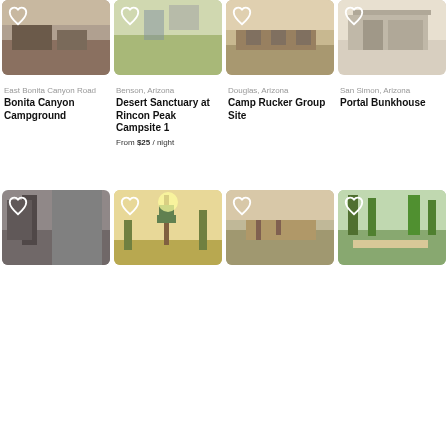[Figure (photo): Bonita Canyon Campground photo with heart icon]
East Bonita Canyon Road
Bonita Canyon Campground
[Figure (photo): Desert Sanctuary at Rincon Peak Campsite 1 photo with heart icon]
Benson, Arizona
Desert Sanctuary at Rincon Peak Campsite 1
From $25 / night
[Figure (photo): Camp Rucker Group Site photo with heart icon]
Douglas, Arizona
Camp Rucker Group Site
[Figure (photo): Portal Bunkhouse photo with heart icon]
San Simon, Arizona
Portal Bunkhouse
[Figure (photo): Second row card 1 photo]
[Figure (photo): Second row card 2 photo with saguaro cactus]
[Figure (photo): Second row card 3 photo with pathway]
[Figure (photo): Second row card 4 photo with trees and picnic area]